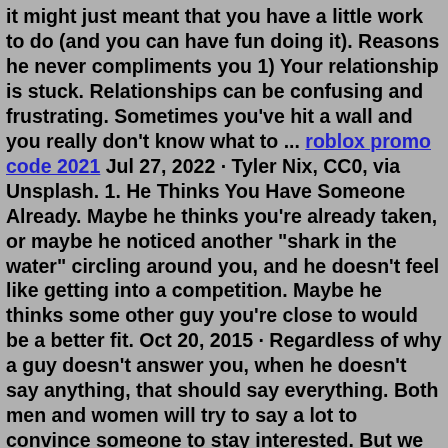it might just meant that you have a little work to do (and you can have fun doing it). Reasons he never compliments you 1) Your relationship is stuck. Relationships can be confusing and frustrating. Sometimes you've hit a wall and you really don't know what to ... roblox promo code 2021 Jul 27, 2022 · Tyler Nix, CC0, via Unsplash. 1. He Thinks You Have Someone Already. Maybe he thinks you're already taken, or maybe he noticed another "shark in the water" circling around you, and he doesn't feel like getting into a competition. Maybe he thinks some other guy you're close to would be a better fit. Oct 20, 2015 · Regardless of why a guy doesn't answer you, when he doesn't say anything, that should say everything. Both men and women will try to say a lot to convince someone to stay interested. But we never back away and see what something is for it's face value. I'm planning to see him in about 2 weeks but don't necessarily like that he hardly flirts or compliments me. For example, last week I sent him a picture of myself after I worked out and his response